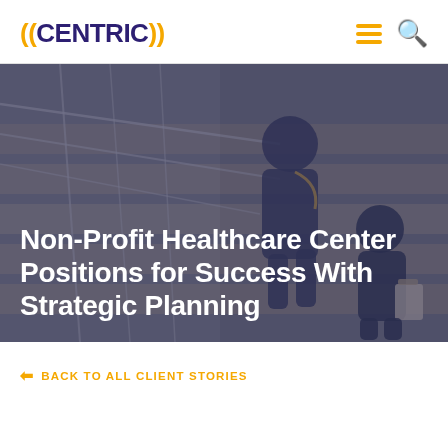((CENTRIC))
[Figure (photo): Two healthcare workers in navy blue scrubs walking up stairs in a hospital or medical center, viewed from above. One worker has a stethoscope. The background shows metal railings and warm-toned stair steps.]
Non-Profit Healthcare Center Positions for Success With Strategic Planning
BACK TO ALL CLIENT STORIES